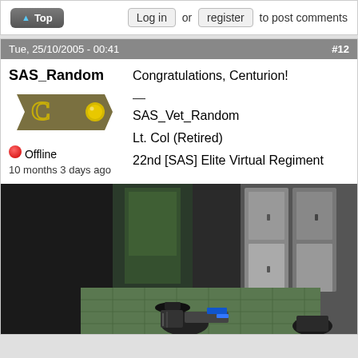Top | Log in or register to post comments
Tue, 25/10/2005 - 00:41  #12
SAS_Random
[Figure (illustration): Rank badge showing a khaki/olive colored banner shape with a 'C' in a lighter gold outline on the left and a gold circle on the right]
Offline
10 months 3 days ago
Congratulations, Centurion!
—
SAS_Vet_Random
Lt. Col (Retired)
22nd [SAS] Elite Virtual Regiment
[Figure (screenshot): Game screenshot showing a first-person shooter scene in what appears to be a locker room or corridor with green tiles and metal lockers. A character is visible at the bottom holding a weapon with blue elements. The scene is dark with some ambient lighting from outside through a doorway.]